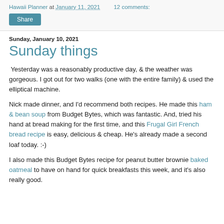Hawaii Planner at January 11, 2021   12 comments:
Share
Sunday, January 10, 2021
Sunday things
Yesterday was a reasonably productive day, & the weather was gorgeous. I got out for two walks (one with the entire family) & used the elliptical machine.
Nick made dinner, and I'd recommend both recipes. He made this ham & bean soup from Budget Bytes, which was fantastic. And, tried his hand at bread making for the first time, and this Frugal Girl French bread recipe is easy, delicious & cheap. He's already made a second loaf today. :-)
I also made this Budget Bytes recipe for peanut butter brownie baked oatmeal to have on hand for quick breakfasts this week, and it's also really good.